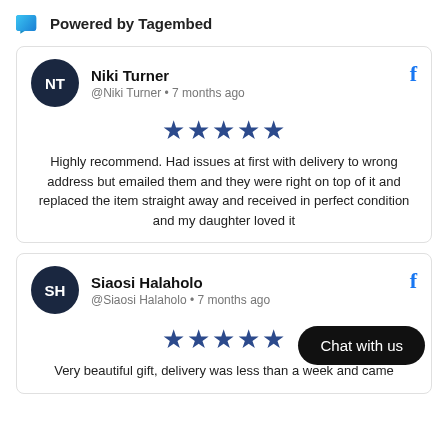[Figure (logo): Tagembed logo icon (blue chat bubble shape) followed by 'Powered by Tagembed' text]
NT — Niki Turner @Niki Turner • 7 months ago — ★★★★★ — Highly recommend. Had issues at first with delivery to wrong address but emailed them and they were right on top of it and replaced the item straight away and received in perfect condition and my daughter loved it
SH — Siaosi Halaholo @Siaosi Halaholo • 7 months ago — ★★★★★ — Very beautiful gift, delivery was less than a week and came
Chat with us